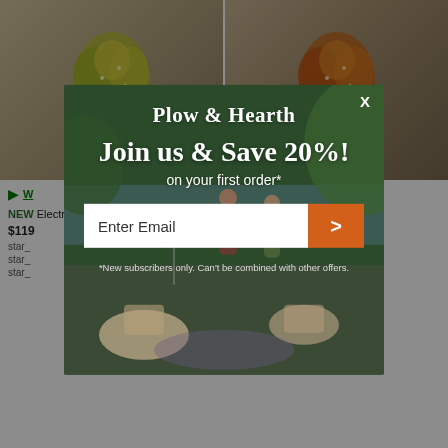[Figure (photo): Two decorative illuminated trees in an interior room setting - left tree has yellow/green foliage, right tree has orange/autumn foliage]
Watch
NEW ... Electric Light...
$119...
star_...
star_...
star_...
[Figure (screenshot): Plow & Hearth email signup modal overlay with dark outdoor/garden background. Contains brand logo, 'Join us & Save 20%!' headline, 'on your first order*' subtext, email input field, orange submit arrow button, and disclaimer text. X close button in top right.]